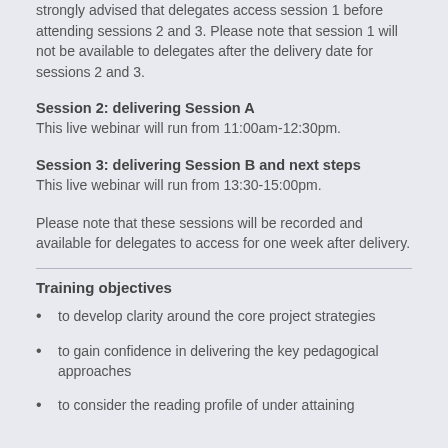strongly advised that delegates access session 1 before attending sessions 2 and 3. Please note that session 1 will not be available to delegates after the delivery date for sessions 2 and 3.
Session 2: delivering Session A
This live webinar will run from 11:00am-12:30pm.
Session 3: delivering Session B and next steps
This live webinar will run from 13:30-15:00pm.
Please note that these sessions will be recorded and available for delegates to access for one week after delivery.
Training objectives
to develop clarity around the core project strategies
to gain confidence in delivering the key pedagogical approaches
to consider the reading profile of under attaining